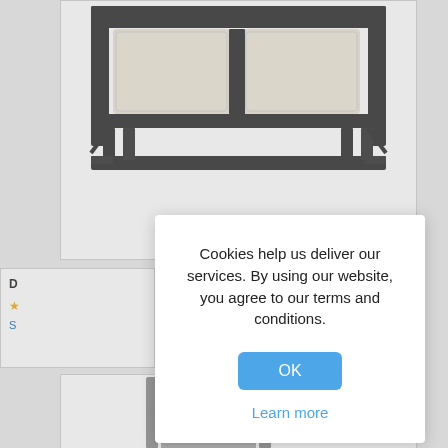[Figure (photo): Top portion of a patio sofa/bench with beige cushions and dark metal frame, viewed from above/front, product listing image]
[Figure (screenshot): Cookie consent dialog overlay: text reads 'Cookies help us deliver our services. By using our website, you agree to our terms and conditions.' with an OK button and 'Learn more' link below]
[Figure (photo): Bottom portion showing top of a gray patio rocking/lounge chair with sling fabric back and metal frame, product listing image]